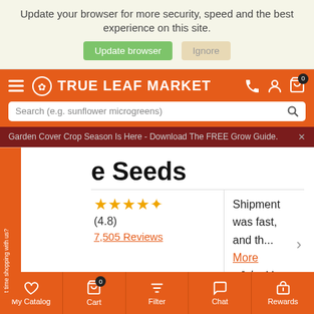Update your browser for more security, speed and the best experience on this site.
Update browser | Ignore
[Figure (screenshot): True Leaf Market website navigation header with logo, search bar, phone/account/cart icons on orange background]
Garden Cover Crop Season Is Here - Download The FREE Grow Guide.
e Seeds
(4.8)
7,505 Reviews
Shipment was fast, and th... More
- John M. ★★★★★
My Catalog | Cart 0 | Filter | Chat | Rewards